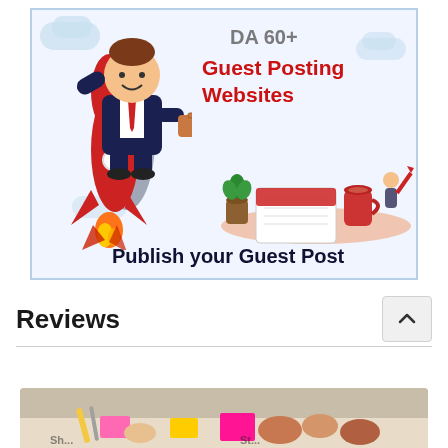[Figure (illustration): Promotional illustration for DA 60+ Guest Posting Websites. Features a cartoon businessman in a suit riding a rocket, text 'DA 60+ Guest Posting Websites' and 'Publish your Guest Post', decorative elements including clouds, a desk with notebook, coffee cup, plant, and a small figure holding a pencil.]
Reviews
[Figure (photo): Partial photo showing hands and colorful sticky notes / papers on a table, appears to be a group working session or brainstorming activity.]